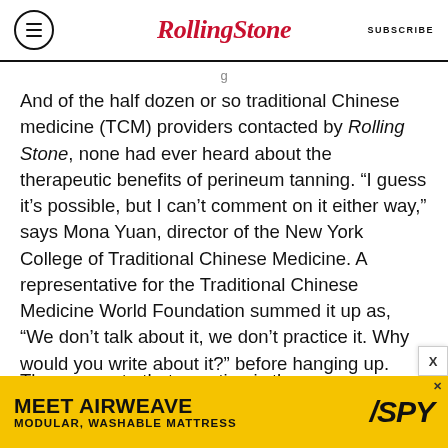Rolling Stone | SUBSCRIBE
And of the half dozen or so traditional Chinese medicine (TCM) providers contacted by Rolling Stone, none had ever heard about the therapeutic benefits of perineum tanning. “I guess it’s possible, but I can’t comment on it either way,” says Mona Yuan, director of the New York College of Traditional Chinese Medicine. A representative for the Traditional Chinese Medicine World Foundation summed it up as, “We don’t talk about it, we don’t practice it. Why would you write about it?” before hanging up.
The answer to that question is the same as any
[Figure (infographic): Advertisement banner: MEET AIRWEAVE / MODULAR, WASHABLE MATTRESS with SPY logo on yellow background]